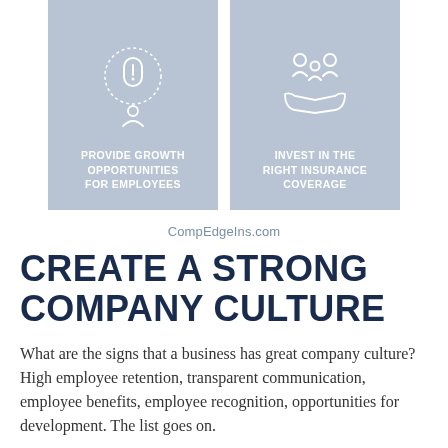[Figure (infographic): Two blue-grey cards side by side. Left card has an icon of a person with a lightbulb/door and text 'PROVIDE GROWTH OPPORTUNITIES FOR EMPLOYEES'. Right card has an icon of hands holding a family and text 'INVEST IN THE RIGHT INSURANCE COVERAGE'.]
CompEdgeIns.com
CREATE A STRONG COMPANY CULTURE
What are the signs that a business has great company culture? High employee retention, transparent communication, employee benefits, employee recognition, opportunities for development. The list goes on.